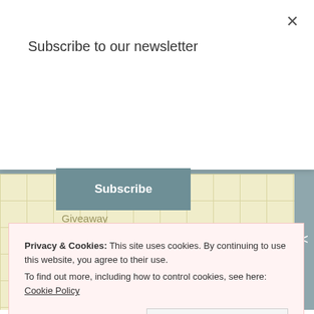Subscribe to our newsletter
Subscribe
Forever Friday
Giveaway
New Releases
Wedding Wednesday
Privacy & Cookies: This site uses cookies. By continuing to use this website, you agree to their use.
To find out more, including how to control cookies, see here: Cookie Policy
Close and accept